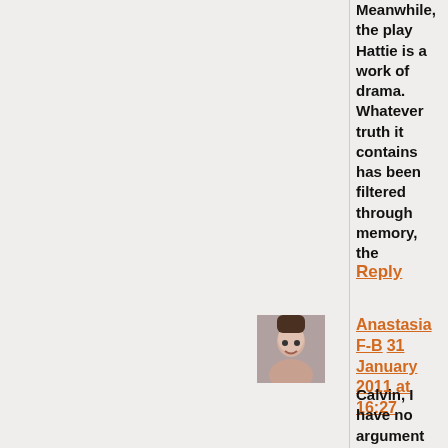Meanwhile, the play Hattie is a work of drama. Whatever truth it contains has been filtered through memory, the dramatist, the actors, and the director. It would be dangerous to mistake it for life.
Reply
[Figure (photo): Profile photo of Anastasia F-B]
Anastasia F-B    31 January 2011 at 16:27
Calvin, I have no argument with that, though here the factual basis seems to be sound. I hope I'm not being judgemental - that's the last thing I wanted -, it's just that the arrangement struck me not just as unconventional but ludicrous. Still, if that's how they wanted to live.
Reply
[Figure (photo): Profile avatar circle for anthony]
anthony    31 January 2011 at 16:41
Our local PBS public